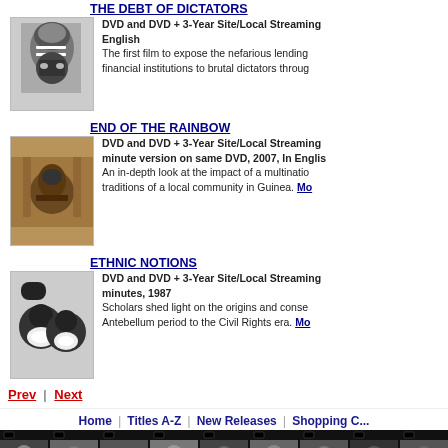THE DEBT OF DICTATORS
DVD and DVD + 3-Year Site/Local Streaming English
The first film to expose the nefarious lending financial institutions to brutal dictators throug
[Figure (photo): Black and white photo of a person with white hair and glasses]
END OF THE RAINBOW
DVD and DVD + 3-Year Site/Local Streaming minute version on same DVD, 2007, In Englis
An in-depth look at the impact of a multinatio traditions of a local community in Guinea. Mo
[Figure (photo): Color photo of a person looking through a window or opening]
ETHNIC NOTIONS
DVD and DVD + 3-Year Site/Local Streaming minutes, 1987
Scholars shed light on the origins and conse Antebellum period to the Civil Rights era. Mo
[Figure (photo): Black and white photo of two people in blackface makeup]
Prev | Next
Home | Titles A-Z | New Releases | Shopping C...
[Figure (photo): Filmstrip banner with multiple black and white photograph frames]
[Figure (infographic): Gold/yellow bar at bottom of page]